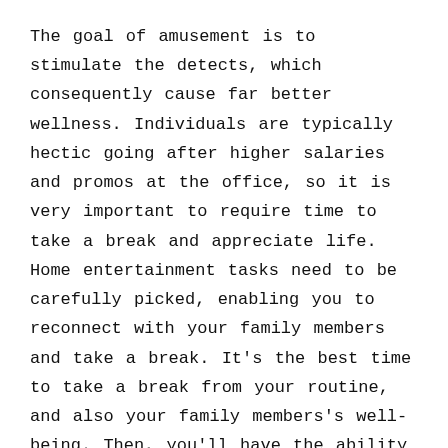The goal of amusement is to stimulate the detects, which consequently cause far better wellness. Individuals are typically hectic going after higher salaries and promos at the office, so it is very important to require time to take a break and appreciate life. Home entertainment tasks need to be carefully picked, enabling you to reconnect with your family members and take a break. It's the best time to take a break from your routine, and also your family members's well-being. Then, you'll have the ability to reap the benefits of these activities.
A 2015 drama film, Home entertainment was launched to broad distribution on May 4, 2009 in the USA and also Might 5 in other nations. It stars Jeff Culter on Tee Sheridan, also O'Reilly, and the...